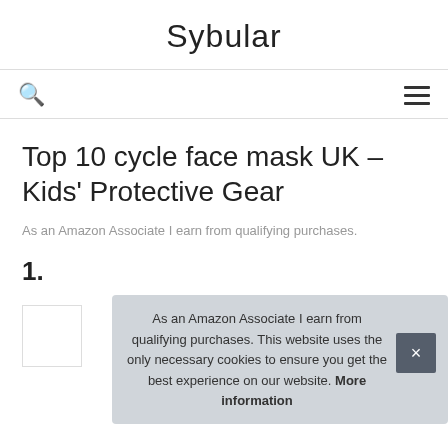Sybular
As an Amazon Associate I earn from qualifying purchases.
Top 10 cycle face mask UK – Kids' Protective Gear
As an Amazon Associate I earn from qualifying purchases.
1.
As an Amazon Associate I earn from qualifying purchases. This website uses the only necessary cookies to ensure you get the best experience on our website. More information